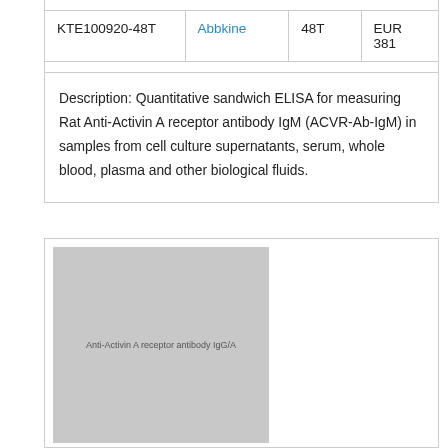| KTE100920-48T | Abbkine | 48T | EUR 381 |
Description: Quantitative sandwich ELISA for measuring Rat Anti-Activin A receptor antibody IgM (ACVR-Ab-IgM) in samples from cell culture supernatants, serum, whole blood, plasma and other biological fluids.
[Figure (photo): Product image placeholder for Anti-Activin A receptor antibody IgG (ACVR-Ab-IgG) ELISA kit, shown as a gray rectangle with small label text]
ELISA kit for Rat Anti-Activin A receptor antibody IgG (ACVR-Ab-IgG)